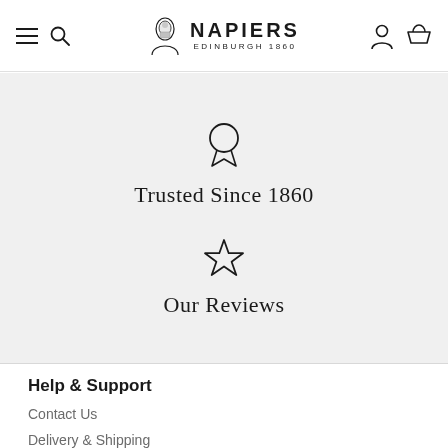NAPIERS EDINBURGH 1860
[Figure (illustration): Award ribbon / medal icon above Trusted Since 1860 text]
Trusted Since 1860
[Figure (illustration): Star outline icon above Our Reviews text]
Our Reviews
Help & Support
Contact Us
Delivery & Shipping
Invite A Friend